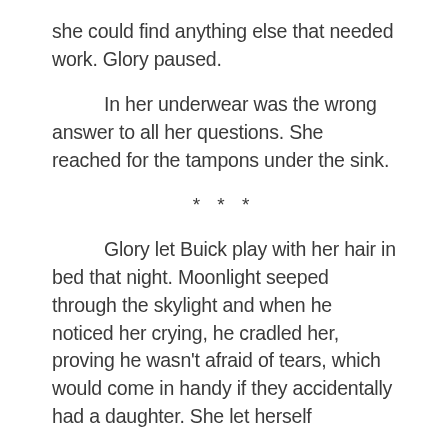she could find anything else that needed work. Glory paused.
In her underwear was the wrong answer to all her questions. She reached for the tampons under the sink.
* * *
Glory let Buick play with her hair in bed that night. Moonlight seeped through the skylight and when he noticed her crying, he cradled her, proving he wasn’t afraid of tears, which would come in handy if they accidentally had a daughter. She let herself